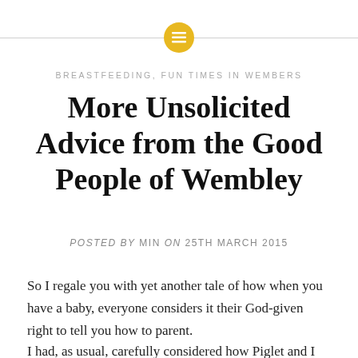[Figure (logo): Golden/yellow circle with white horizontal lines icon, flanked by thin gray horizontal lines on each side]
BREASTFEEDING, FUN TIMES IN WEMBERS
More Unsolicited Advice from the Good People of Wembley
Posted by MIN on 25TH MARCH 2015
So I regale you with yet another tale of how when you have a baby, everyone considers it their God-given right to tell you how to parent.
I had, as usual, carefully considered how Piglet and I